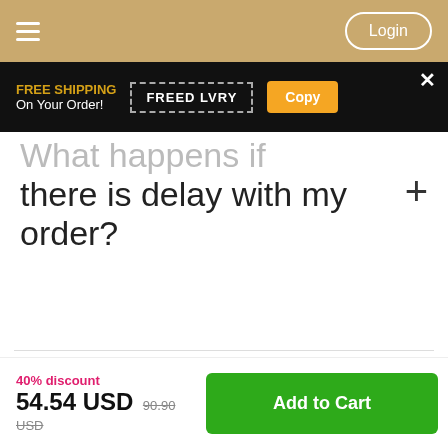Login
FREE SHIPPING On Your Order! FREED LVRY Copy
What happens if there is delay with my order?
How security measures do you have in place on your
40% discount 54.54 USD 90.90 USD Add to Cart